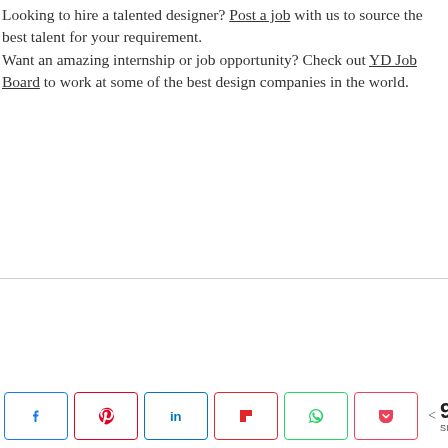Looking to hire a talented designer? Post a job with us to source the best talent for your requirement. Want an amazing internship or job opportunity? Check out YD Job Board to work at some of the best design companies in the world.
[Figure (other): Social share buttons bar: Facebook, Pinterest, LinkedIn, Flipboard, WhatsApp, Pocket, with share count of 923 SHARES]